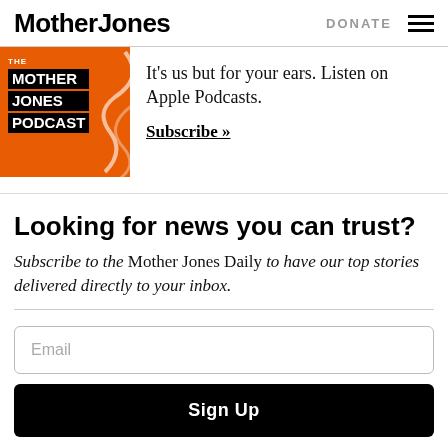Mother Jones | DONATE
[Figure (logo): The Mother Jones Podcast orange square logo with white decorative swirl]
It's us but for your ears. Listen on Apple Podcasts.
Subscribe »
Looking for news you can trust?
Subscribe to the Mother Jones Daily to have our top stories delivered directly to your inbox.
Email
Sign Up